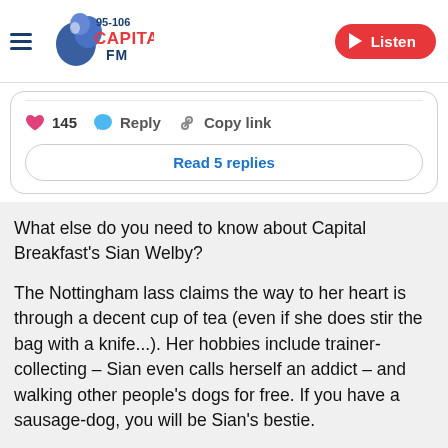[Figure (logo): Capital FM 95-106 logo with hamburger menu icon and Listen button]
[Figure (screenshot): Social media post interaction bar showing 145 likes, Reply, Copy link actions and Read 5 replies button]
What else do you need to know about Capital Breakfast's Sian Welby?
The Nottingham lass claims the way to her heart is through a decent cup of tea (even if she does stir the bag with a knife...). Her hobbies include trainer-collecting – Sian even calls herself an addict – and walking other people's dogs for free. If you have a sausage-dog, you will be Sian's bestie.
Listen to Sian Welby join Capital Breakfast with Roman Kemp every weekday from 6AM.